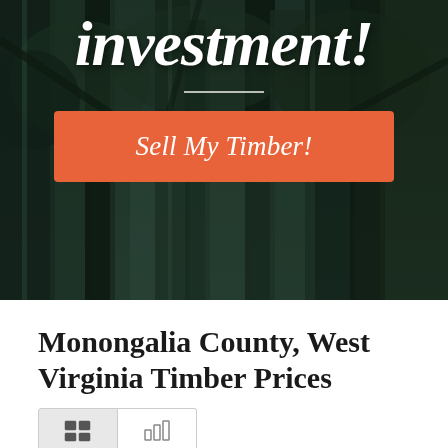[Figure (photo): Dark forest with tall pine trees forming hero background image with dark green/teal overlay tones]
investment!
Sell My Timber!
Monongalia County, West Virginia Timber Prices